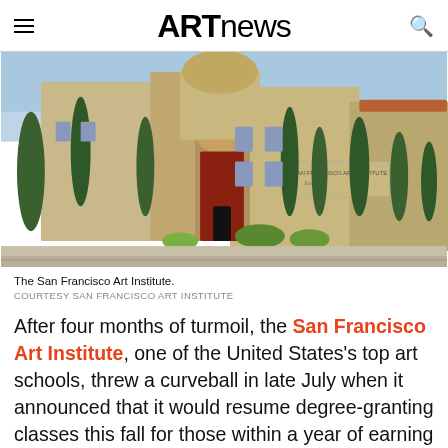ARTnews
[Figure (photo): Exterior of the San Francisco Art Institute building, showing Mediterranean-style architecture with cypress trees and a sign reading 'San Francisco Art Institute' on the facade.]
The San Francisco Art Institute.
COURTESY SAN FRANCISCO ART INSTITUTE
After four months of turmoil, the San Francisco Art Institute, one of the United States’s top art schools, threw a curveball in late July when it announced that it would resume degree-granting classes this fall for those within a year of earning a degree. The nearly 150-year-old school had suspended academic